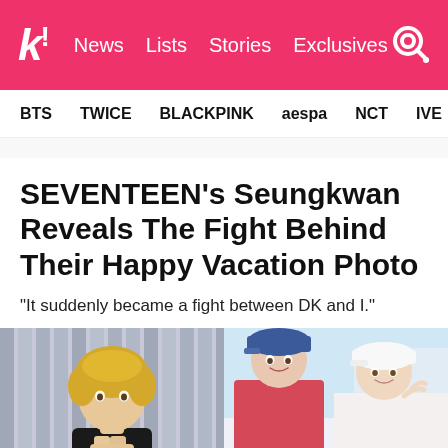k! News Lists Stories Exclusives
BTS TWICE BLACKPINK aespa NCT IVE SHIN
SEVENTEEN's Seungkwan Reveals The Fight Behind Their Happy Vacation Photo
“It suddenly became a fight between DK and I.”
[Figure (photo): Left: Young man with blonde hair wearing black shirt, hands pressed together in prayer pose. Right: Two people smiling at camera wearing sporty hats outdoors, one in blue cap and red top, one in white visor.]